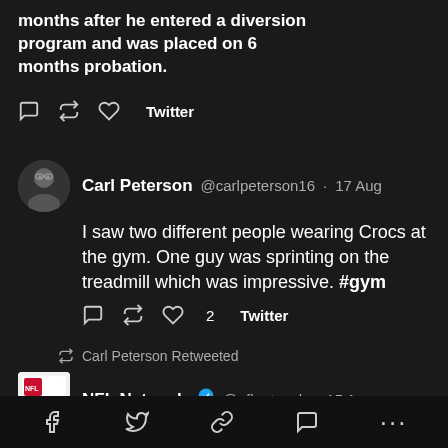months after he entered a diversion program and was placed on 6 months probation.
[Figure (screenshot): Tweet action icons: reply, retweet, like, Twitter label]
[Figure (screenshot): Carl Peterson avatar - man with glasses]
Carl Peterson @carlpeterson16 · 17 Aug
I saw two different people wearing Crocs at the gym. One guy was sprinting on the treadmill which was impressive. #gym
[Figure (screenshot): Tweet action icons: reply, retweet, like 2, Twitter label]
Carl Peterson Retweeted
[Figure (logo): NFL Network logo]
NFL Network @nflnetwork · 15 Aug
A presence on the @Titans D-Line 🏈
[Figure (screenshot): Bottom nav bar with Facebook, Twitter, link, comment, more icons]